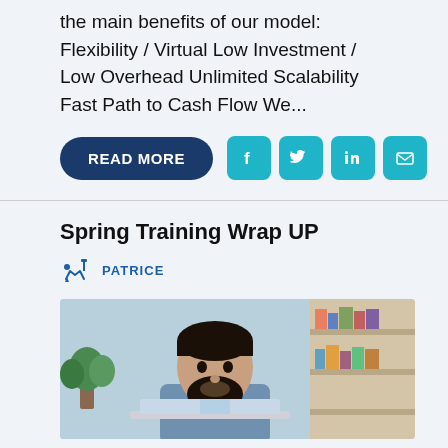the main benefits of our model: Flexibility / Virtual Low Investment / Low Overhead Unlimited Scalability Fast Path to Cash Flow We...
READ MORE
[Figure (infographic): Social media share icons: Facebook, Twitter, LinkedIn, Email — teal rounded squares]
Spring Training Wrap UP
PATRICE
[Figure (photo): Photo of a bearded man smiling while looking at a laptop, with bookshelves in the background]